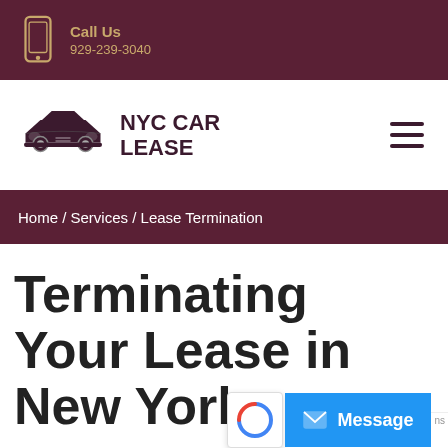Call Us
929-239-3040
[Figure (logo): NYC Car Lease logo with car icon and text NYC CAR LEASE]
Home / Services / Lease Termination
Terminating Your Lease in New York
Ending a lease is something a lot of people dread. And no wonder given how some car leasing agencies of their...